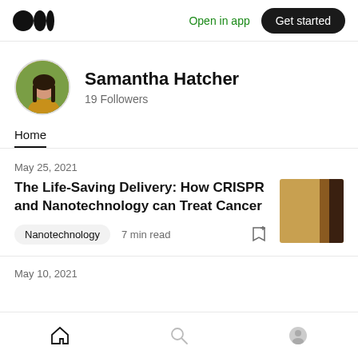Medium logo | Open in app | Get started
[Figure (photo): Circular profile photo of Samantha Hatcher, a woman with long dark hair wearing a yellow/mustard top, outdoors with green background]
Samantha Hatcher
19 Followers
Home
May 25, 2021
The Life-Saving Delivery: How CRISPR and Nanotechnology can Treat Cancer
[Figure (photo): Thumbnail image showing a close-up of wood or amber-colored material with dark shadow on the right]
Nanotechnology   7 min read
May 10, 2021
Home | Search | Profile